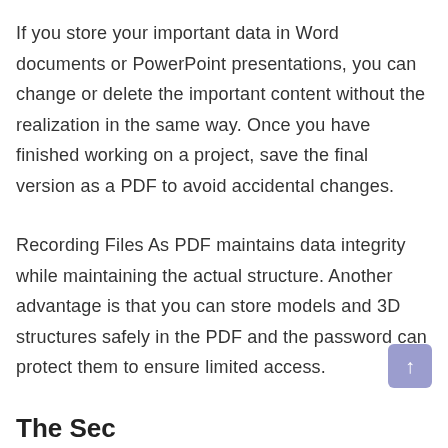If you store your important data in Word documents or PowerPoint presentations, you can change or delete the important content without the realization in the same way. Once you have finished working on a project, save the final version as a PDF to avoid accidental changes.
Recording Files As PDF maintains data integrity while maintaining the actual structure. Another advantage is that you can store models and 3D structures safely in the PDF and the password can protect them to ensure limited access.